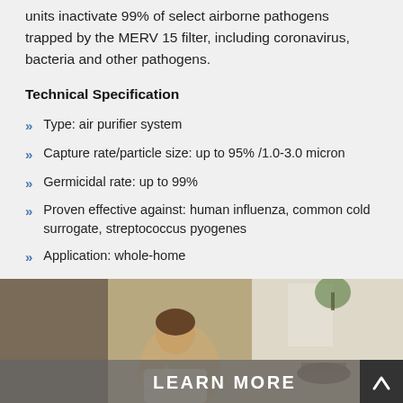units inactivate 99% of select airborne pathogens trapped by the MERV 15 filter, including coronavirus, bacteria and other pathogens.
Technical Specification
Type: air purifier system
Capture rate/particle size: up to 95% /1.0-3.0 micron
Germicidal rate: up to 99%
Proven effective against: human influenza, common cold surrogate, streptococcus pyogenes
Application: whole-home
[Figure (photo): Woman holding a baby in a home interior setting, with a LEARN MORE overlay banner and a scroll-to-top button]